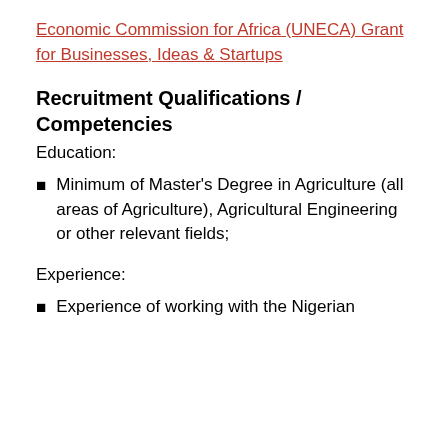Economic Commission for Africa (UNECA) Grant for Businesses, Ideas & Startups
Recruitment Qualifications / Competencies
Education:
Minimum of Master's Degree in Agriculture (all areas of Agriculture), Agricultural Engineering or other relevant fields;
Experience:
Experience of working with the Nigerian